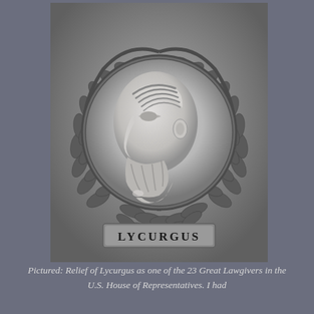[Figure (illustration): Black and white photograph of a stone or metal relief medallion depicting Lycurgus in profile facing left, surrounded by a laurel wreath, with the name LYCURGUS inscribed below.]
Pictured: Relief of Lycurgus as one of the 23 Great Lawgivers in the U.S. House of Representatives. I had